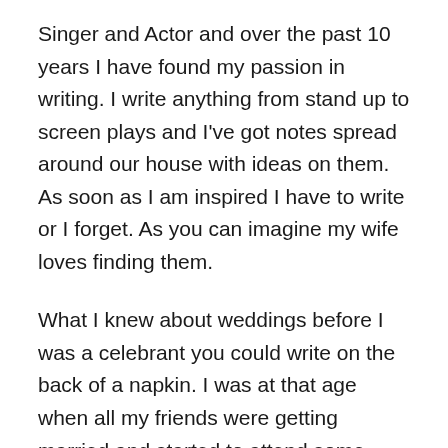Singer and Actor and over the past 10 years I have found my passion in writing. I write anything from stand up to screen plays and I've got notes spread around our house with ideas on them. As soon as I am inspired I have to write or I forget. As you can imagine my wife loves finding them.
What I knew about weddings before I was a celebrant you could write on the back of a napkin. I was at that age when all my friends were getting married and started to attend some beautiful weddings at all different locations. From beaches to the hinterland and overseas and all the while there was a constant, all of my friends were using celebrants compared to religious ministers.
I thought what a fantastic job, to be apart of